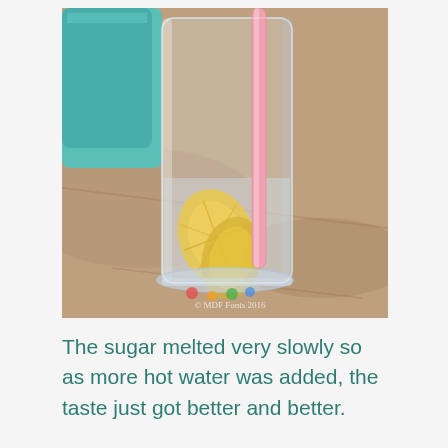[Figure (photo): A tall clear glass with lemon slices and water inside, a pink straw, sitting on a marble/granite countertop. A teal-colored container is partially visible in the background. A watermark reads '© MDF Fonts 2016' in the lower right of the photo.]
The sugar melted very slowly so as more hot water was added, the taste just got better and better.